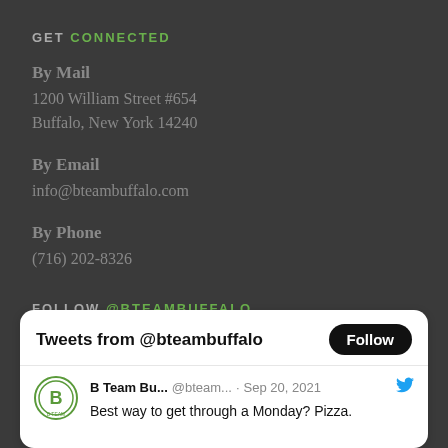GET CONNECTED
By Mail
1200 William Street #654
Buffalo, New York 14240
By Email
info@bteambuffalo.com
By Phone
(716) 202-8326
FOLLOW @BTEAMBUFFALO
[Figure (screenshot): Twitter widget showing 'Tweets from @bteambuffalo' with a Follow button. A tweet from B Team Bu... @bteam... Sep 20, 2021 reads: Best way to get through a Monday? Pizza.]